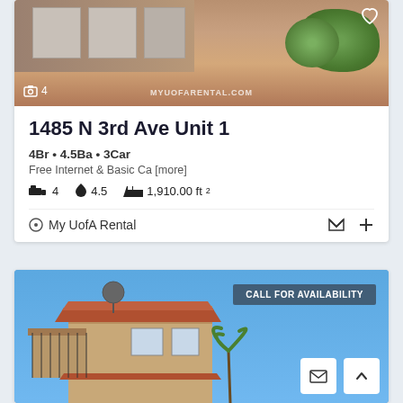[Figure (photo): Exterior photo of property at 1485 N 3rd Ave with garage doors and shrubs, watermark MYUOFARENTAL.COM, photo count icon showing 4, heart icon]
1485 N 3rd Ave Unit 1
4Br • 4.5Ba • 3Car
Free Internet & Basic Ca [more]
4   4.5   1,910.00 ft²
My UofA Rental
[Figure (photo): Exterior photo of a two-story stucco house with red tile roof and satellite dish, blue sky background, CALL FOR AVAILABILITY badge, email and scroll-up buttons]